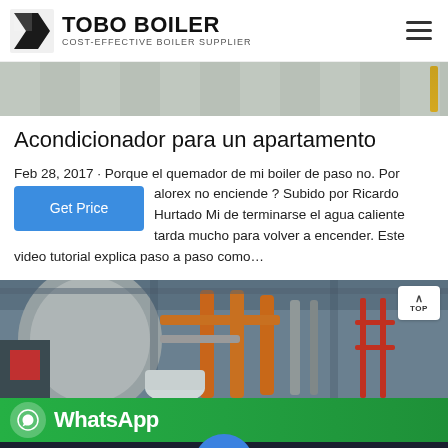TOBO BOILER COST-EFFECTIVE BOILER SUPPLIER
[Figure (photo): Partial view of an industrial or construction floor with tools and equipment, yellow cylindrical object visible on right]
Acondicionador para un apartamento
Feb 28, 2017 · Porque el quemador de mi boiler de paso no. Por valorex no enciende ? Subido por Ricardo Hurtado Mi de terminarse el agua caliente tarda mucho para volver a encender. Este video tutorial explica paso a paso como…
[Figure (photo): Industrial boiler room with orange/copper pipes, gray ducts, and red railings in a large facility]
[Figure (screenshot): WhatsApp contact bar with green background and WhatsApp logo text]
[Figure (screenshot): Mobile bottom action bar with Send Message and Inquiry Online buttons on dark background, with central email/contact circular button]